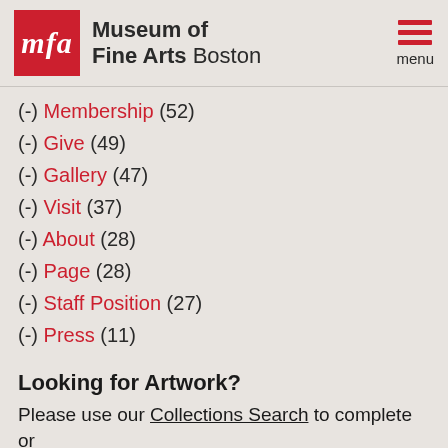[Figure (logo): Museum of Fine Arts Boston logo with red MFA box and text]
(-) Membership (52)
(-) Give (49)
(-) Gallery (47)
(-) Visit (37)
(-) About (28)
(-) Page (28)
(-) Staff Position (27)
(-) Press (11)
Looking for Artwork?
Please use our Collections Search to complete or